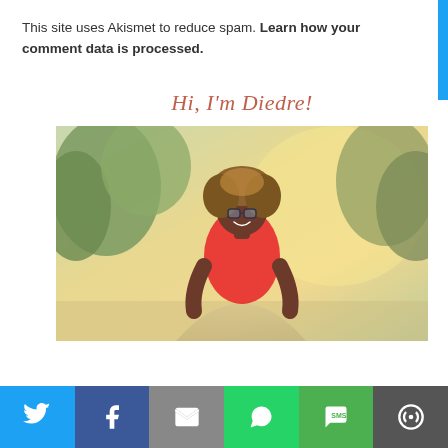This site uses Akismet to reduce spam. Learn how your comment data is processed.
Hi, I'm Diedre!
[Figure (photo): Outdoor photo of a smiling woman with natural hair and glasses, wearing a red sleeveless top, standing on a path surrounded by trees with autumn foliage]
[Figure (infographic): Social sharing bar with six buttons: Twitter (blue), Facebook (dark blue), Email (gray), WhatsApp (green), SMS (green), and More (dark gray)]